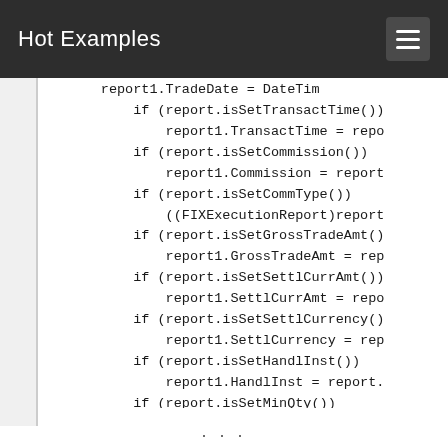Hot Examples
report1.TradeDate = DateTim
            if (report.isSetTransactTime())
                report1.TransactTime = repo
            if (report.isSetCommission())
                report1.Commission = report
            if (report.isSetCommType())
                ((FIXExecutionReport)report
            if (report.isSetGrossTradeAmt()
                report1.GrossTradeAmt = rep
            if (report.isSetSettlCurrAmt())
                report1.SettlCurrAmt = repo
            if (report.isSetSettlCurrency()
                report1.SettlCurrency = rep
            if (report.isSetHandlInst())
                report1.HandlInst = report.
            if (report.isSetMinQty())
                report1.MinQty = report.get